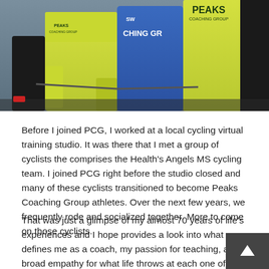[Figure (photo): Group of cyclists wearing yellow and blue jerseys with 'Peaks Coaching Group' branding, standing with bicycles]
Before I joined PCG, I worked at a local cycling virtual training studio. It was there that I met a group of cyclists the comprises the Health's Angels MS cycling team. I joined PCG right before the studio closed and many of these cyclists transitioned to become Peaks Coaching Group athletes. Over the next few years, we frequently rode and socialized together. More to come on those cyclists.
That was just a glimpse of my almost 70 years of life's experiences and I hope provides a look into what defines me as a coach, my passion for teaching, and a broad empathy for what life throws at each one of us. Numbers wise, I am an